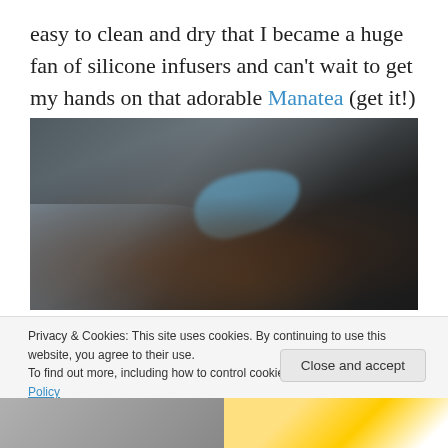easy to clean and dry that I became a huge fan of silicone infusers and can't wait to get my hands on that adorable Manatea (get it!) one!
[Figure (photo): Close-up photo of loose-leaf tea inside a clear plastic zip bag, placed on a dark textured surface. The tea consists of dark leaves and small pieces with a blue paper tag visible inside.]
Privacy & Cookies: This site uses cookies. By continuing to use this website, you agree to their use.
To find out more, including how to control cookies, see here: Cookie Policy
Close and accept
[Figure (photo): Partial view of images at the bottom of the page, showing two cropped photos side by side.]